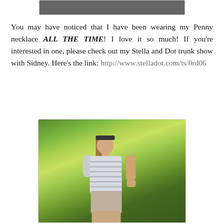[Figure (photo): Partial top portion of a photo visible at the top of the page, cropped]
You may have noticed that I have been wearing my Penny necklace ALL THE TIME! I love it so much! If you're interested in one, please check out my Stella and Dot trunk show with Sidney. Here's the link: http://www.stelladot.com/ts/0rd06
[Figure (photo): Woman standing outdoors in front of lush green trees, wearing a striped t-shirt and light shorts with sunglasses on her head, looking down]